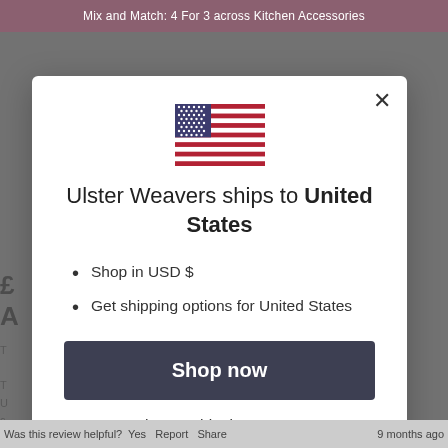Mix and Match: 4 For 3 across Kitchen Accessories
[Figure (illustration): US flag emoji/icon — blue canton with white stars, red and white horizontal stripes]
Ulster Weavers ships to United States
Shop in USD $
Get shipping options for United States
Shop now
Change shipping country
Was this review helpful?  Yes  Report  Share                                    9 months ago